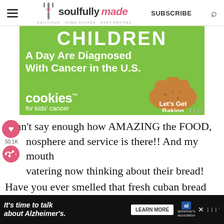soulfully made — SUBSCRIBE
[Figure (infographic): Green advertisement banner for Cookies for Kids' Cancer: 'CHILDREN A Day Are Diagnosed With Cancer in the U.S.' with cookies logo and 'Let's Get Baking' call to action]
I can't say enough how AMAZING the FOOD, atmosphere and service is there!! And my mouth is watering now thinking about their bread!
Have you ever smelled that fresh cuban bread
[Figure (infographic): Black advertisement banner: 'It's time to talk about Alzheimer's.' with LEARN MORE button and Alzheimer's Association logo]